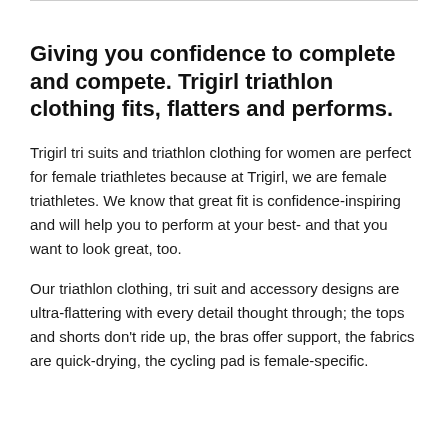Giving you confidence to complete and compete. Trigirl triathlon clothing fits, flatters and performs.
Trigirl tri suits and triathlon clothing for women are perfect for female triathletes because at Trigirl, we are female triathletes. We know that great fit is confidence-inspiring and will help you to perform at your best- and that you want to look great, too.
Our triathlon clothing, tri suit and accessory designs are ultra-flattering with every detail thought through; the tops and shorts don't ride up, the bras offer support, the fabrics are quick-drying, the cycling pad is female-specific.